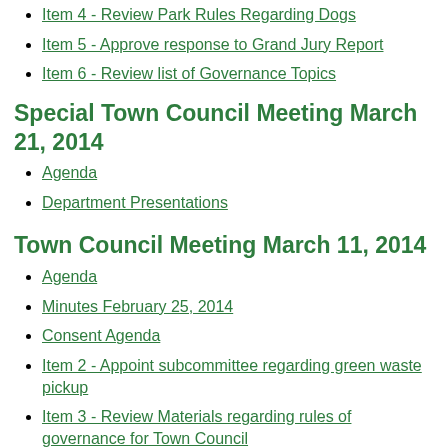Item 4 - Review Park Rules Regarding Dogs
Item 5 - Approve response to Grand Jury Report
Item 6 - Review list of Governance Topics
Special Town Council Meeting March 21, 2014
Agenda
Department Presentations
Town Council Meeting March 11, 2014
Agenda
Minutes February 25, 2014
Consent Agenda
Item 2 - Appoint subcommittee regarding green waste pickup
Item 3 - Review Materials regarding rules of governance for Town Council